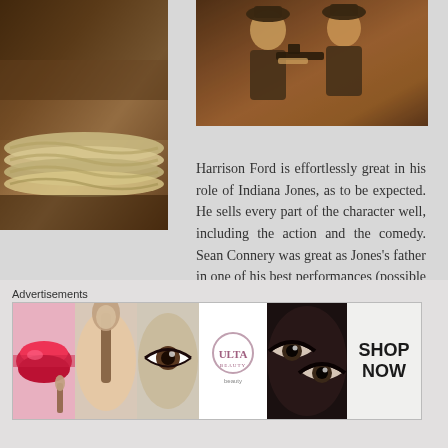[Figure (photo): Close-up photo of rope/cord texture on dark brown leather or fabric background]
[Figure (photo): Two men in fedora hats holding a gun, movie still from Indiana Jones]
Harrison Ford is effortlessly great in his role of Indiana Jones, as to be expected. He sells every part of the character well, including the action and the comedy. Sean Connery was great as Jones's father in one of his best performances (possible his best). It's an unexpected casting considering Connery's past roles
Advertisements
[Figure (photo): ULTA Beauty advertisement banner showing makeup/cosmetics imagery with lips, brush, eye, logo, eyes, and SHOP NOW button]